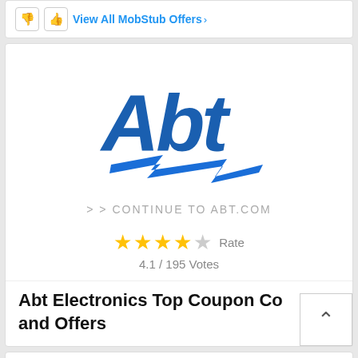View All MobStub Offers >
[Figure (logo): Abt Electronics logo — bold blue stylized 'Abt' text with a blue lightning bolt underneath]
> > CONTINUE TO ABT.COM
★★★★☆  Rate
4.1 / 195 Votes
Abt Electronics Top Coupon Codes and Offers
Abt Free Shipping Code